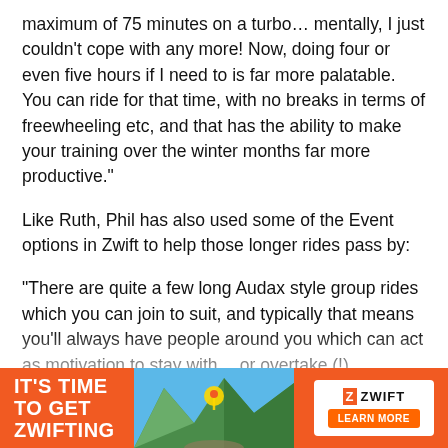maximum of 75 minutes on a turbo… mentally, I just couldn't cope with any more! Now, doing four or even five hours if I need to is far more palatable. You can ride for that time, with no breaks in terms of freewheeling etc, and that has the ability to make your training over the winter months far more productive."
Like Ruth, Phil has also used some of the Event options in Zwift to help those longer rides pass by:
“There are quite a few long Audax style group rides which you can join to suit, and typically that means you'll always have people around you which can act as motivation to stay with… or overtake (!)… depending on what keeps you involved."
While, from a British perspective, we typically think of
[Figure (infographic): Orange advertisement banner for Zwift. Left side shows bold white text 'IT'S TIME TO GET ZWIFTING' on orange background. Center shows a scenic cycling photo with a location pin icon. Right side shows a white rounded rectangle with Zwift logo (Z icon and ZWIFT text) and an orange 'LEARN MORE' button.]